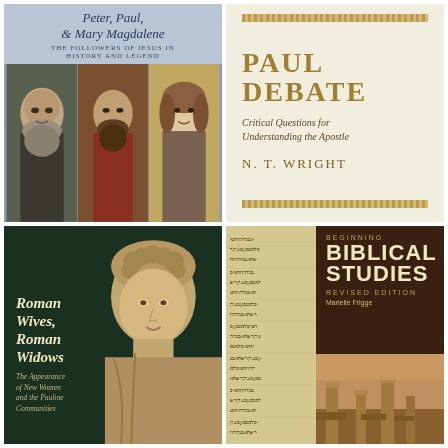[Figure (illustration): Book cover: 'Peter, Paul & Mary Magdalene: The Followers of Jesus in History and Legend' showing three portrait paintings of the Biblical figures]
[Figure (illustration): Book cover: 'The Paul Debate: Critical Questions for Understanding the Apostle' by N. T. Wright, cream/gold colored cover]
[Figure (illustration): Book cover: 'Roman Wives, Roman Widows: The Appearance of New Women and the Pauline Communities' showing a Roman sculpture bust on dark green background]
[Figure (illustration): Book cover: 'Beginning Biblical Studies, Revised Edition' by Marielle Frigge, showing ancient manuscript text and ruins photography]